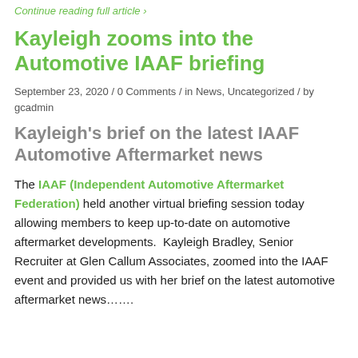Continue reading full article ›
Kayleigh zooms into the Automotive IAAF briefing
September 23, 2020 / 0 Comments / in News, Uncategorized / by gcadmin
Kayleigh's brief on the latest IAAF Automotive Aftermarket news
The IAAF (Independent Automotive Aftermarket Federation) held another virtual briefing session today allowing members to keep up-to-date on automotive aftermarket developments.  Kayleigh Bradley, Senior Recruiter at Glen Callum Associates, zoomed into the IAAF event and provided us with her brief on the latest automotive aftermarket news…….